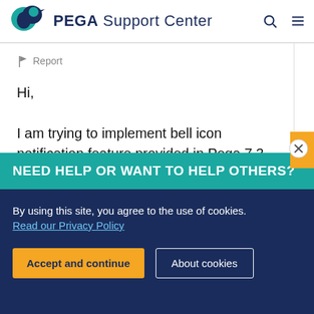PEGA Support Center
🏳 Report
Hi,

I am trying to implement bell icon notification feature provided in Pega 7.3. For this purpose I have used the bell icon notification smart shape for sending notification and created Notification rule. Additionally I have created a field value for
NEED HELP OR WANT TO HELP OTHERS?
By using this site, you agree to the use of cookies.
Read our Privacy Policy
Accept and continue
About cookies